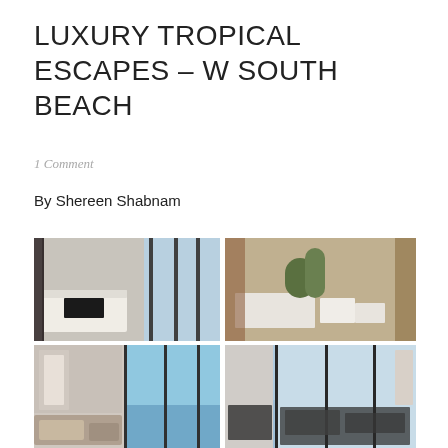LUXURY TROPICAL ESCAPES – W SOUTH BEACH
1 Comment
By Shereen Shabnam
[Figure (photo): Four hotel room photos in a 2x2 grid: top-left shows a luxury bedroom with ocean view through floor-to-ceiling windows; top-right shows a stylish hotel lobby/lounge with plants and modern white furniture; bottom-left shows a living room with ocean view and modern furnishings; bottom-right shows a living room with panoramic ocean/beach view through large windows.]